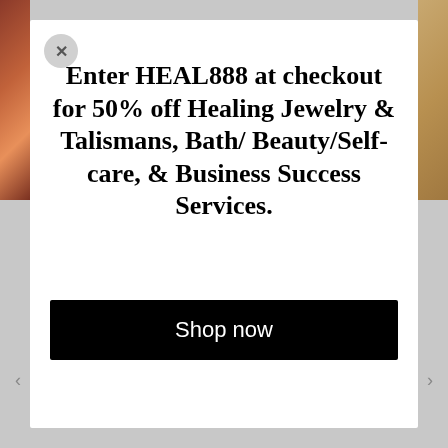[Figure (screenshot): Website popup modal with a close button (X), promotional text, and a Shop now button on a white background. Background shows partial images on left and right edges.]
Enter HEAL888 at checkout for 50% off Healing Jewelry & Talismans, Bath/ Beauty/Self-care, & Business Success Services.
Shop now